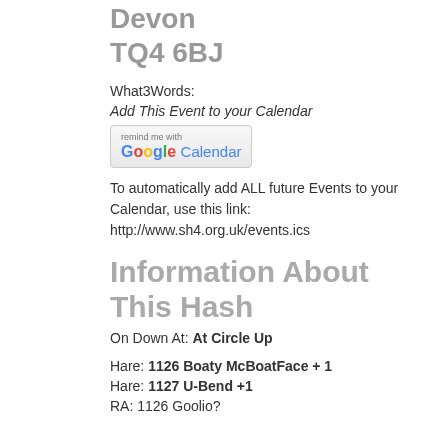Devon
TQ4 6BJ
What3Words:
Add This Event to your Calendar
[Figure (logo): Google Calendar 'remind me with' button]
To automatically add ALL future Events to your Calendar, use this link: http://www.sh4.org.uk/events.ics
Information About This Hash
On Down At: At Circle Up
Hare: 1126 Boaty McBoatFace + 1
Hare: 1127 U-Bend +1
RA: 1126 Goolio?